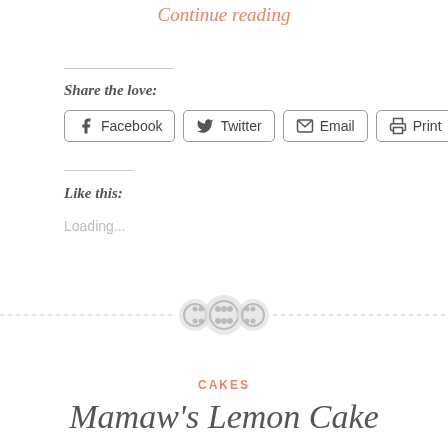Continue reading
Share the love:
Facebook  Twitter  Email  Print
Like this:
Loading...
[Figure (illustration): Decorative divider with three button-like circular icons on a dashed horizontal line]
CAKES
Mamaw's Lemon Cake